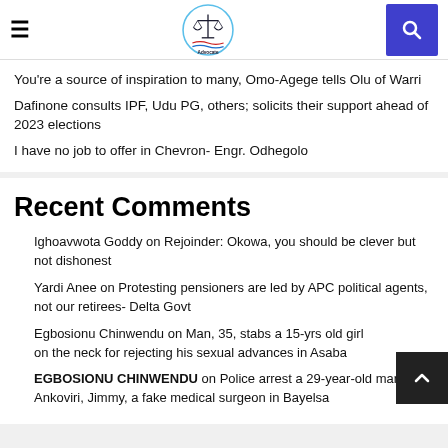Advocate [logo with scales of justice]
You're a source of inspiration to many, Omo-Agege tells Olu of Warri
Dafinone consults IPF, Udu PG, others; solicits their support ahead of 2023 elections
I have no job to offer in Chevron- Engr. Odhegolo
Recent Comments
Ighoavwota Goddy on Rejoinder: Okowa, you should be clever but not dishonest
Yardi Anee on Protesting pensioners are led by APC political agents, not our retirees- Delta Govt
Egbosionu Chinwendu on Man, 35, stabs a 15-yrs old girl on the neck for rejecting his sexual advances in Asaba
EGBOSIONU CHINWENDU on Police arrest a 29-year-old man, Ankoviri, Jimmy, a fake medical surgeon in Bayelsa